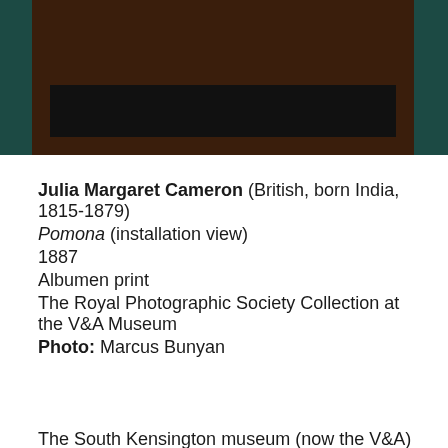[Figure (photo): Partial view of a photographic print installation, showing dark brown wooden frame against a dark teal background wall with a black bar/shadow at the bottom of the frame.]
Julia Margaret Cameron (British, born India, 1815-1879)
Pomona (installation view)
1887
Albumen print
The Royal Photographic Society Collection at the V&A Museum
Photo: Marcus Bunyan
The South Kensington museum (now the V&A) was the